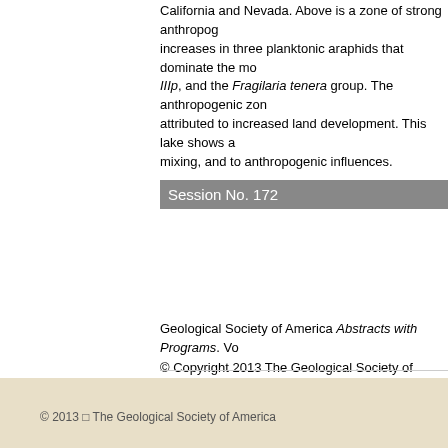California and Nevada. Above is a zone of strong anthropogenic increases in three planktonic araphids that dominate the mo IIIp, and the Fragilaria tenera group. The anthropogenic zone attributed to increased land development. This lake shows a mixing, and to anthropogenic influences.
Session No. 172
Geological Society of America Abstracts with Programs. Vol © Copyright 2013 The Geological Society of America (GSA) this abstract to reproduce and distribute it freely, for noncom scientist to download a single copy of this electronic file and advancing science and education, including classroom use, including the author information. All other forms of reproduc GSA Copyright Permissions.
Back to: T
<< Previous Ab
© 2013 □ The Geological Society of America